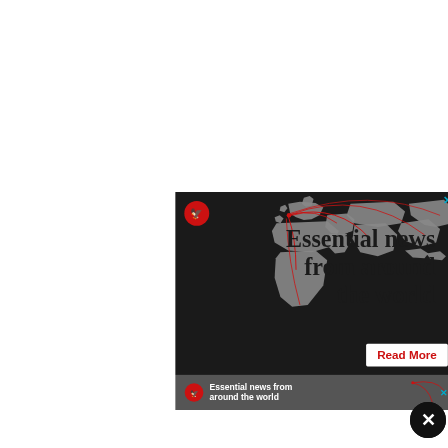[Figure (infographic): Advertisement banner for The Independent news outlet. Dark background with grey world map illustration showing red arc lines radiating from Western Europe to various regions. Red circular logo with white bird/eagle icon in top-left. Large bold serif text reading 'Essential news from around the world'. White 'Read More' button with red text at bottom-right. Blue X close button at top-right corner.]
[Figure (infographic): Bottom banner of The Independent advertisement. Dark grey background with red circular logo, white bold text 'Essential news from around the world', partial world map on right side, blue X close button, and black circle X button at far right.]